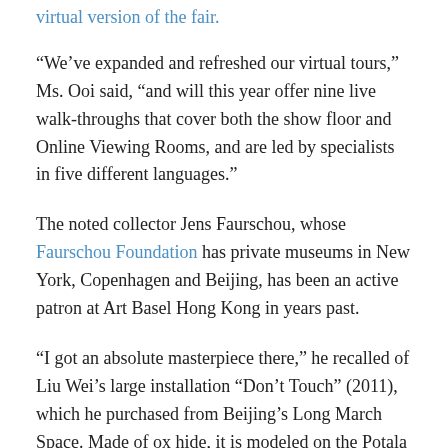virtual version of the fair.
“We’ve expanded and refreshed our virtual tours,” Ms. Ooi said, “and will this year offer nine live walk-throughs that cover both the show floor and Online Viewing Rooms, and are led by specialists in five different languages.”
The noted collector Jens Faurschou, whose Faurschou Foundation has private museums in New York, Copenhagen and Beijing, has been an active patron at Art Basel Hong Kong in years past.
“I got an absolute masterpiece there,” he recalled of Liu Wei’s large installation “Don’t Touch” (2011), which he purchased from Beijing’s Long March Space. Made of ox hide, it is modeled on the Potala Palace in Tibet, once the residence of the Dalai Lama.
He was so taken with the fair’s ability to bring together the world’s best galleries and collectors that